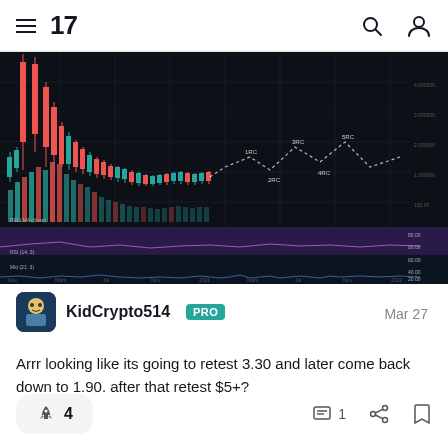TradingView navigation bar with hamburger menu, logo '17', search icon, and profile icon
[Figure (continuous-plot): TradingView candlestick chart showing cryptocurrency (ARRR) price action on a dark background. The chart shows a significant price decline from a peak with red and green candlesticks, volume bars in green/red at the bottom, a purple RSI panel, and a lower blue oscillator panel. A white dotted projected price path is drawn showing potential future price movement with labeled points. Time axis spans from roughly 2020 to 2021.]
KidCrypto514 PRO  Mar 27
Arrr looking like its going to retest 3.30 and later come back down to 1.90. after that retest $5+?